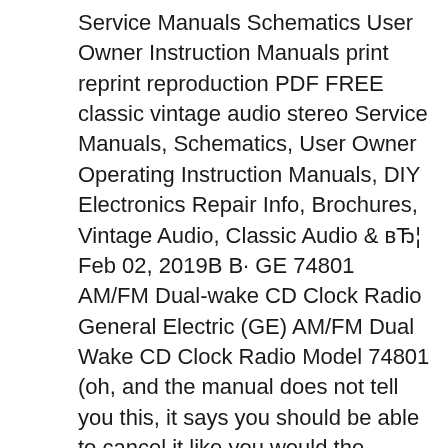Service Manuals Schematics User Owner Instruction Manuals print reprint reproduction PDF FREE classic vintage audio stereo Service Manuals, Schematics, User Owner Operating Instruction Manuals, DIY Electronics Repair Info, Brochures, Vintage Audio, Classic Audio & вЂ¦ Feb 02, 2019В В· GE 74801 AM/FM Dual-wake CD Clock Radio General Electric (GE) AM/FM Dual Wake CD Clock Radio Model 74801 (oh, and the manual does not tell you this, it says you should be able to cancel it like you would the alarm). When you want to go to sleep to the radio and hit the sleep function, sometimes the cd player starts to work.